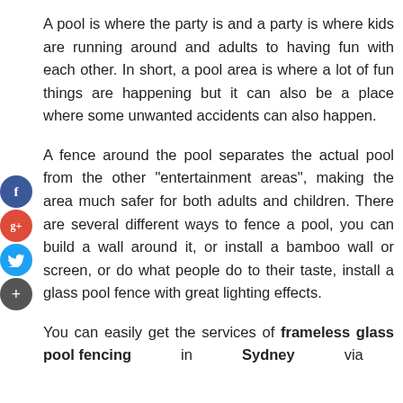A pool is where the party is and a party is where kids are running around and adults to having fun with each other. In short, a pool area is where a lot of fun things are happening but it can also be a place where some unwanted accidents can also happen.
A fence around the pool separates the actual pool from the other "entertainment areas", making the area much safer for both adults and children. There are several different ways to fence a pool, you can build a wall around it, or install a bamboo wall or screen, or do what people do to their taste, install a glass pool fence with great lighting effects.
You can easily get the services of frameless glass pool fencing in Sydney via